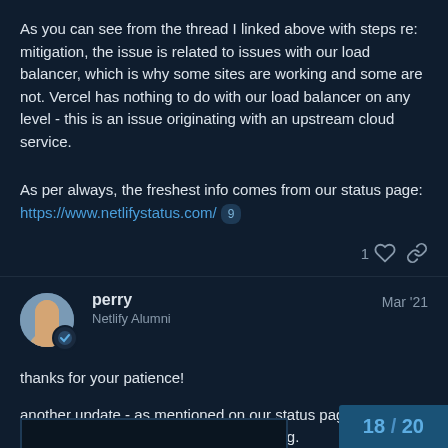As you can see from the thread I linked above with steps re: mitigation, the issue is related to issues with our load balancer, which is why some sites are working and some are not. Vercel has nothing to do with our load balancer on any level - this is an issue originating with an upstream cloud service.
As per always, the freshest info comes from our status page: https://www.netlifystatus.com/ 9
perry
Netlify Alumni
Mar '21
thanks for your patience!
another update - as mentioned on our status page, we now have a new load balancer up and running.
Please see these instructions:
18 / 20